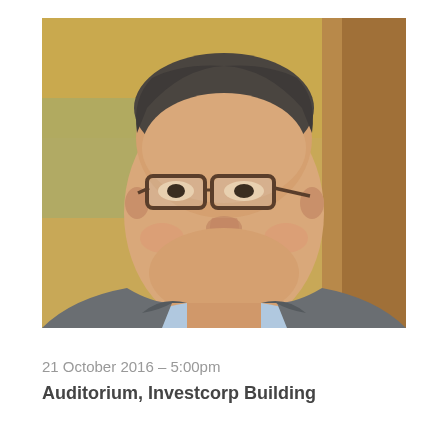[Figure (photo): Headshot of a smiling middle-aged man with glasses, wearing a grey suit jacket and light blue dress shirt, photographed against a warm blurred background with golden and wood tones.]
21 October 2016 – 5:00pm
Auditorium, Investcorp Building